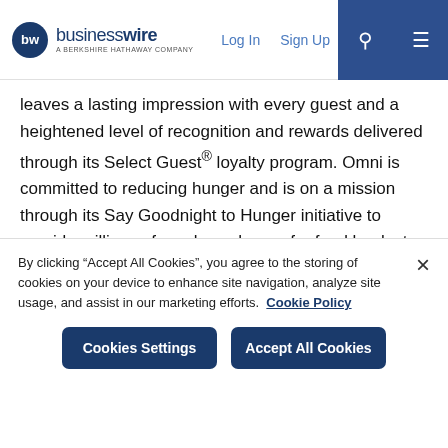businesswire — A BERKSHIRE HATHAWAY COMPANY | Log In | Sign Up
leaves a lasting impression with every guest and a heightened level of recognition and rewards delivered through its Select Guest® loyalty program. Omni is committed to reducing hunger and is on a mission through its Say Goodnight to Hunger initiative to provide millions of meals each year for food banks to feed children, families and seniors in communities in which it operates. Through its partnership with Shared Hope International, Omni is dedicated to the education and training of its associates to help combat human trafficking. Omni Hotels & Resorts is the official hotel of the PGA TOUR® and PGA TOUR Champions. For information or to book accommodations, visit omnihotels.com or call 1-800-The-Omni.
By clicking "Accept All Cookies", you agree to the storing of cookies on your device to enhance site navigation, analyze site usage, and assist in our marketing efforts. Cookie Policy
Cookies Settings | Accept All Cookies